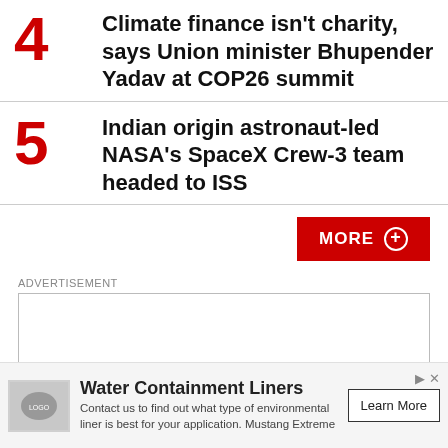4 Climate finance isn't charity, says Union minister Bhupender Yadav at COP26 summit
5 Indian origin astronaut-led NASA's SpaceX Crew-3 team headed to ISS
MORE +
ADVERTISEMENT
[Figure (other): Empty advertisement box placeholder]
[Figure (other): Advertisement banner: Water Containment Liners. Contact us to find out what type of environmental liner is best for your application. Mustang Extreme. Learn More button.]